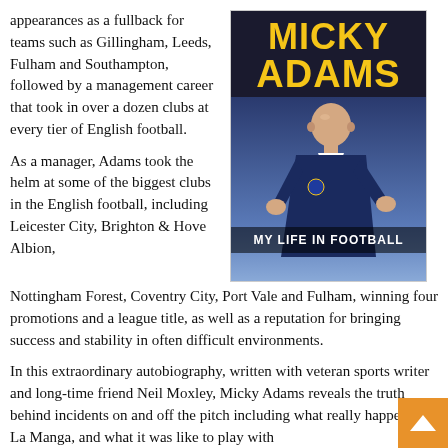appearances as a fullback for teams such as Gillingham, Leeds, Fulham and Southampton, followed by a management career that took in over a dozen clubs at every tier of English football.
[Figure (photo): Book cover of 'Micky Adams: My Life in Football' showing a man in a dark sports jacket clapping his hands, with the title in bold yellow text on a dark blue background and subtitle 'My Life in Football' at the bottom.]
As a manager, Adams took the helm at some of the biggest clubs in the English football, including Leicester City, Brighton & Hove Albion, Nottingham Forest, Coventry City, Port Vale and Fulham, winning four promotions and a league title, as well as a reputation for bringing success and stability in often difficult environments.
In this extraordinary autobiography, written with veteran sports writer and long-time friend Neil Moxley, Micky Adams reveals the truth behind incidents on and off the pitch including what really happened at La Manga, and what it was like to play with